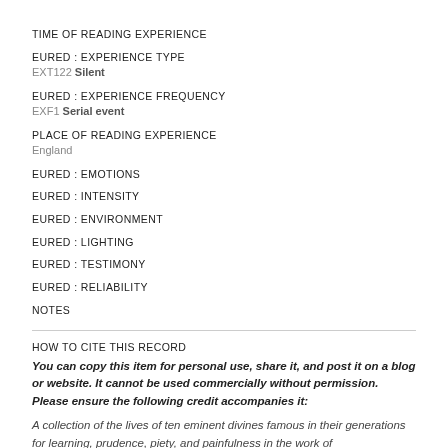TIME OF READING EXPERIENCE
EURED : EXPERIENCE TYPE
EXT122 Silent
EURED : EXPERIENCE FREQUENCY
EXF1 Serial event
PLACE OF READING EXPERIENCE
England
EURED : EMOTIONS
EURED : INTENSITY
EURED : ENVIRONMENT
EURED : LIGHTING
EURED : TESTIMONY
EURED : RELIABILITY
NOTES
HOW TO CITE THIS RECORD
You can copy this item for personal use, share it, and post it on a blog or website. It cannot be used commercially without permission. Please ensure the following credit accompanies it:
A collection of the lives of ten eminent divines famous in their generations for learning, prudence, piety, and painfulness in the work of